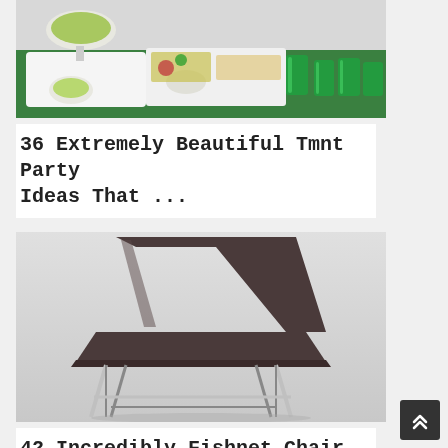[Figure (photo): A green table set with white plates of food and green drinks/glasses, party food spread]
36 Extremely Beautiful Tmnt Party Ideas That ...
[Figure (photo): A modern dark brown/grey chair with thin metal legs on a light grey background]
42 Incredibly Fishnet Chair By Karre